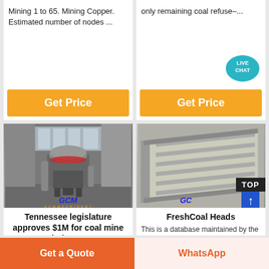Mining 1 to 65. Mining Copper. Estimated number of nodes ...
[Figure (other): Get Price button (orange)]
only remaining coal refuse–...
[Figure (other): Get Price button (orange) with LIVE CHAT badge]
[Figure (photo): GCM Machinery industrial grinding mill in warehouse]
Tennessee legislature approves $1M for coal mine industry
May 12, 2021Rep. Chris Todd, R-Jackson, said the state ha...
[Figure (photo): GCM Machinery industrial grate/screen equipment with TOP badge]
FreshCoal Heads
This is a database maintained by the FreshCoal team, it us...
[Figure (other): Get Price button (orange)]
Get a Quote
WhatsApp